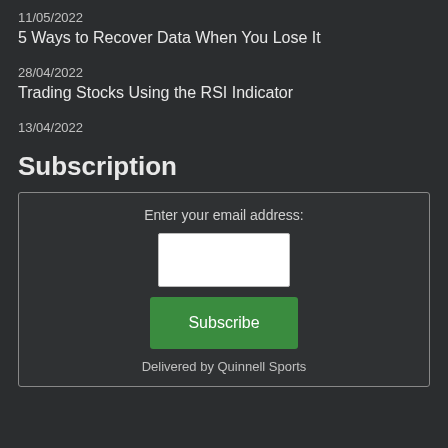11/05/2022
5 Ways to Recover Data When You Lose It
28/04/2022
Trading Stocks Using the RSI Indicator
13/04/2022
Subscription
Enter your email address:
Subscribe
Delivered by Quinnell Sports